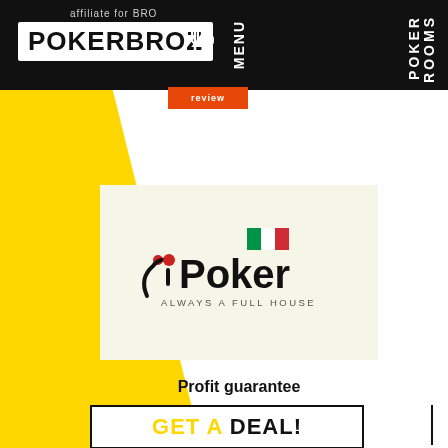affiliate for BRO
POKERBROZ
MENU
POKER ROOMS
review
[Figure (logo): iPoker logo with Italian flag and tagline ALWAYS A FULL HOUSE on light yellow background]
Profit guarantee
GET A DEAL!